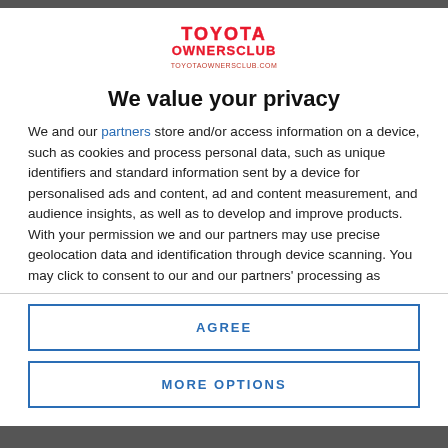[Figure (logo): Toyota Owners Club logo with red text and URL toyotaownersclub.com]
We value your privacy
We and our partners store and/or access information on a device, such as cookies and process personal data, such as unique identifiers and standard information sent by a device for personalised ads and content, ad and content measurement, and audience insights, as well as to develop and improve products. With your permission we and our partners may use precise geolocation data and identification through device scanning. You may click to consent to our and our partners' processing as described above. Alternatively you may access more detailed information and change your preferences before consenting
AGREE
MORE OPTIONS